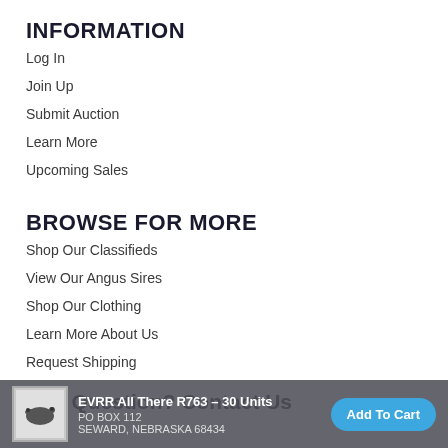INFORMATION
Log In
Join Up
Submit Auction
Learn More
Upcoming Sales
BROWSE FOR MORE
Shop Our Classifieds
View Our Angus Sires
Shop Our Clothing
Learn More About Us
Request Shipping
Any Question? Contact Us
EVRR All There R763 – 30 Units  Add To Cart  PO BOX 112  SEWARD, NEBRASKA 68434